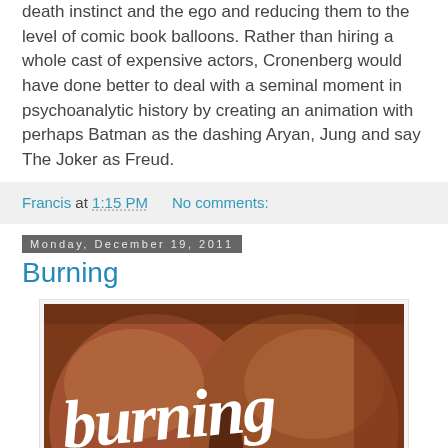death instinct and the ego and reducing them to the level of comic book balloons. Rather than hiring a whole cast of expensive actors, Cronenberg would have done better to deal with a seminal moment in psychoanalytic history by creating an animation with perhaps Batman as the dashing Aryan, Jung and say The Joker as Freud.
Francis at 1:15 PM   No comments:
Monday, December 19, 2011
Burning
[Figure (photo): Photo of a body with the word 'burning' written in white cursive lettering on brown skin]
The caption text beginning with 'Burning' is partially visible at the bottom